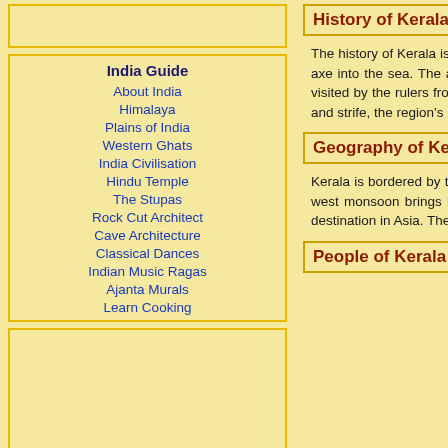India Guide
About India
Himalaya
Plains of India
Western Ghats
India Civilisation
Hindu Temple
The Stupas
Rock Cut Architect
Cave Architecture
Classical Dances
Indian Music Ragas
Ajanta Murals
Learn Cooking
History of Kerala
The history of Kerala is very distinct. Acco from the heavens in his incarnation of Pa over to repeal their force from earth, he di his axe into the sea. The area where the a the sea. The Phoenicians started the sea Solomon's ships that travelled to `Ophir', was visited by the rulers from the other c Portuguese were forced out of the area. British traders had become the strongest prosperity and strife, the region's ident Travancore. It was only in 1956 that it gai
Geography of Kerala
Kerala is bordered by the Arabian Sea in and Tamil Nadu and Western Ghats in t coastal belt and the Western Ghats runs south-west monsoon brings heavy rainfa of Kerala gives it a unique climatic and g four rivers. Due to these unique geograph tourist destination in Asia. The coastal beaches, palm lined shores and serene stations, wildlife sanctuaries, tea estates a
People of Kerala